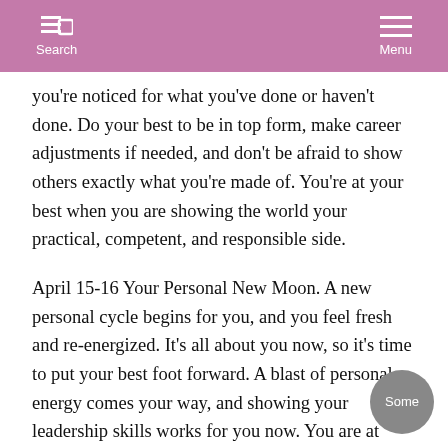Search   Menu
you're noticed for what you've done or haven't done. Do your best to be in top form, make career adjustments if needed, and don't be afraid to show others exactly what you're made of. You're at your best when you are showing the world your practical, competent, and responsible side.
April 15-16 Your Personal New Moon. A new personal cycle begins for you, and you feel fresh and re-energized. It's all about you now, so it's time to put your best foot forward. A blast of personal energy comes your way, and showing your leadership skills works for you now. You are at your most convincing, as others are accepting you at face value. Some people find that the Moon in their sign brings with it a